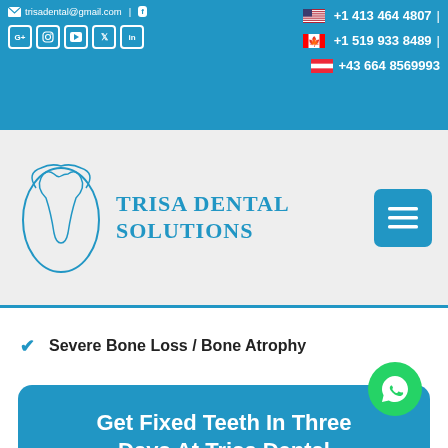trisadental@gmail.com | +1 413 464 4807 | +1 519 933 8489 | +43 664 8569993
[Figure (logo): Trisa Dental Solutions logo with tooth illustration]
Severe Bone Loss / Bone Atrophy
Get Fixed Teeth In Three Days At Trisa Dental Solutions
Know More!